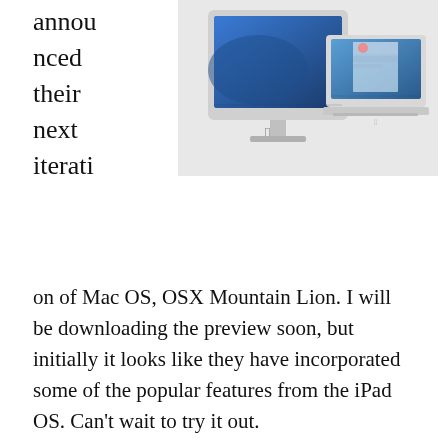announced their next iteration of Mac OS, OSX Mountain Lion. I will be downloading the preview soon, but initially it looks like they have incorporated some of the popular features from the iPad OS. Can't wait to try it out.
[Figure (photo): Apple iMac desktop computer and MacBook Air laptop displaying Mac OS X Mountain Lion interface, shown side by side against a white background.]
Share:
Facebook  Twitter  Reddit  LinkedIn